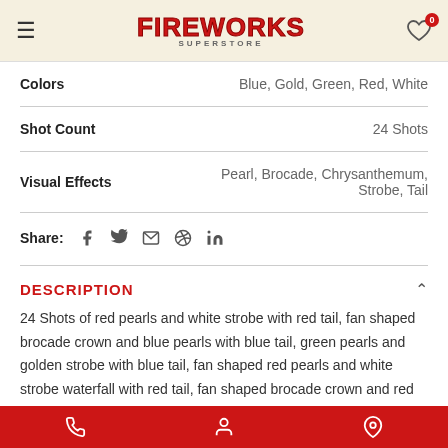FIREWORKS SUPERSTORE
| Attribute | Value |
| --- | --- |
| Colors | Blue, Gold, Green, Red, White |
| Shot Count | 24 Shots |
| Visual Effects | Pearl, Brocade, Chrysanthemum, Strobe, Tail |
Share: [social icons: Facebook, Twitter, Email, Pinterest, LinkedIn]
DESCRIPTION
24 Shots of red pearls and white strobe with red tail, fan shaped brocade crown and blue pearls with blue tail, green pearls and golden strobe with blue tail, fan shaped red pearls and white strobe waterfall with red tail, fan shaped brocade crown and red strobe with blue tail, red and blue chrysanthemum with red tail.
[Phone] [Account] [Location]